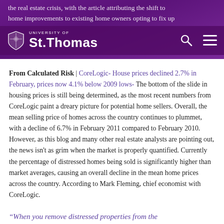the real estate crisis, with the article attributing the shift to home improvements to existing home owners opting to fix up their … as opposed to buying a new home. Overall, 2011 spending is expected to increase 9.1% to $125.1 billion.
[Figure (logo): University of St. Thomas logo with shield emblem, white text on purple background bar, with search and menu icons]
From Calculated Risk | CoreLogic- House prices declined 2.7% in February, prices now 4.1% below 2009 lows- The bottom of the slide in housing prices is still being determined, as the most recent numbers from CoreLogic paint a dreary picture for potential home sellers. Overall, the mean selling price of homes across the country continues to plummet, with a decline of 6.7% in February 2011 compared to February 2010. However, as this blog and many other real estate analysts are pointing out, the news isn't as grim when the market is properly quantified. Currently the percentage of distressed homes being sold is significantly higher than market averages, causing an overall decline in the mean home prices across the country. According to Mark Fleming, chief economist with CoreLogic.
“When you remove distressed properties from the